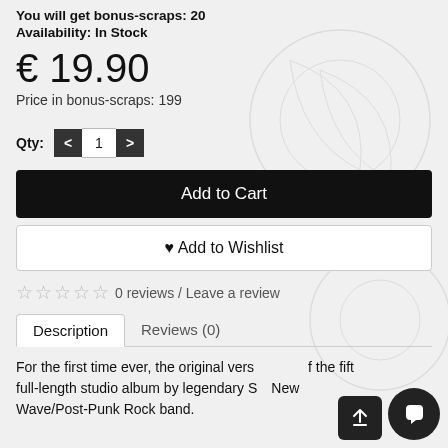You will get bonus-scraps: 20
Availability: In Stock
€ 19.90
Price in bonus-scraps: 199
Qty: < 1 >
Add to Cart
♥ Add to Wishlist
☆ ☆ ☆ ☆ ☆ 0 reviews / Leave a review
Description | Reviews (0)
For the first time ever, the original version of the fifth full-length studio album by legendary S... New Wave/Post-Punk Rock band.